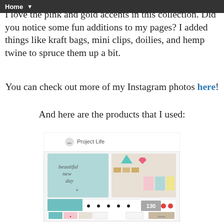Home ▼
I love the pink and gold accents in this collection. Did you notice some fun additions to my pages? I added things like kraft bags, mini clips, doilies, and hemp twine to spruce them up a bit.
You can check out more of my Instagram photos here!
And here are the products that I used:
[Figure (photo): Project Life scrapbooking kit box showing cards with 'beautiful new day' text, colorful embellishments, polka dot elements, teal card, and product photos on the bottom. '130' count shown on packaging.]